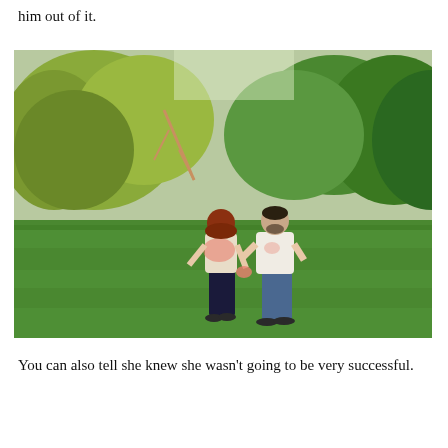him out of it.
[Figure (photo): A man and a woman standing on a green lawn with trees in the background. The woman has red hair and appears to be holding a pink powder/smoke device. The man is wearing a white t-shirt and jeans.]
You can also tell she knew she wasn't going to be very successful.